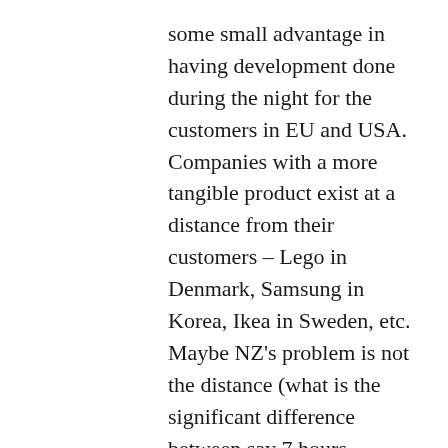some small advantage in having development done during the night for the customers in EU and USA. Companies with a more tangible product exist at a distance from their customers – Lego in Denmark, Samsung in Korea, Ikea in Sweden, etc.
Maybe NZ's problem is not the distance (what is the significant difference between say 7 hours doorstep to doorstep travel from California to NY compared to 28 hours Auckland to UK – both waste a day).
The problem NZ has is talent is so easy to steal. Educated Kiwis are well travelled when young; they